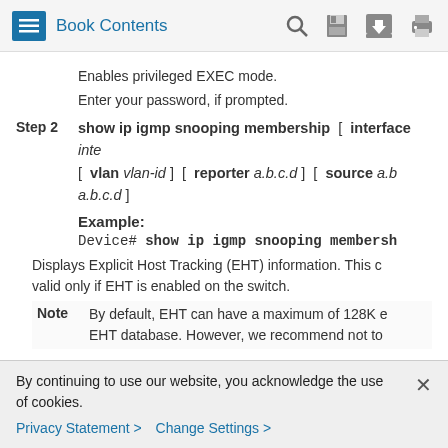Book Contents
Enables privileged EXEC mode.
Enter your password, if prompted.
Step 2   show ip igmp snooping membership [ interface inte [ vlan vlan-id ] [ reporter a.b.c.d ] [ source a.b a.b.c.d ]
Example:
Device# show ip igmp snooping membersh
Displays Explicit Host Tracking (EHT) information. This c valid only if EHT is enabled on the switch.
Note   By default, EHT can have a maximum of 128K e EHT database. However, we recommend not to
By continuing to use our website, you acknowledge the use of cookies.
Privacy Statement >   Change Settings >